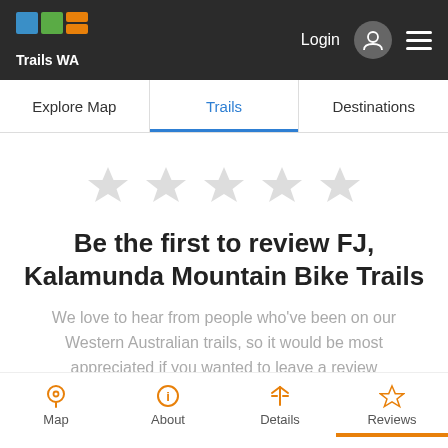[Figure (logo): Trails WA logo with colorful squares and text]
Login  ☰
Explore Map   Trails   Destinations
[Figure (other): Five empty star rating icons in light grey]
Be the first to review FJ, Kalamunda Mountain Bike Trails
We love to hear from people who've been on our Western Australian trails, so it would be most appreciated if you wanted to leave a review
Map   About   Details   Reviews